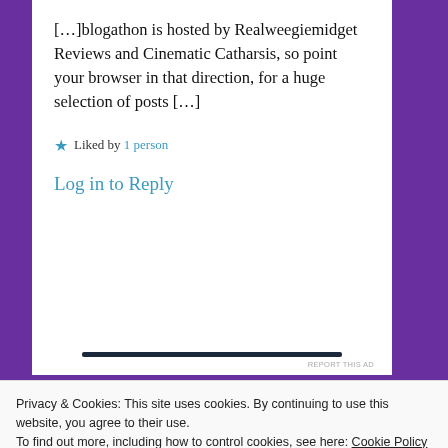[…]blogathon is hosted by Realweegiemidget Reviews and Cinematic Catharsis, so point your browser in that direction, for a huge selection of posts […]
★ Liked by 1 person
Log in to Reply
REPORT THIS AD
Privacy & Cookies: This site uses cookies. By continuing to use this website, you agree to their use.
To find out more, including how to control cookies, see here: Cookie Policy
Close and accept